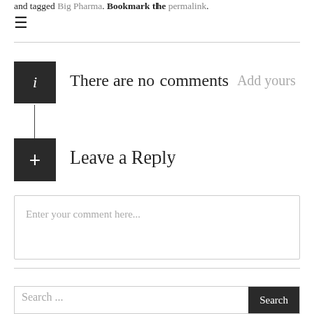and tagged Big Pharma. Bookmark the permalink.
≡
There are no comments  Add yours
Leave a Reply
Enter your comment here...
Search ...